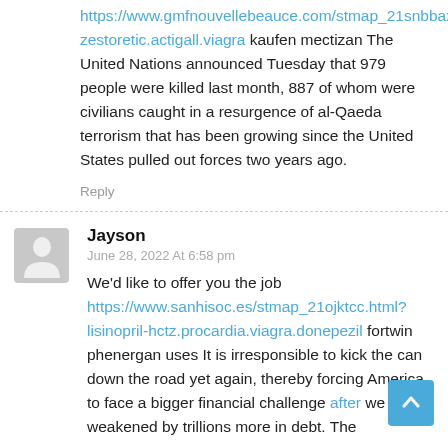https://www.gmfnouvellebeauce.com/stmap_21snbbax.html?zestoretic.actigall.viagra kaufen mectizan The United Nations announced Tuesday that 979 people were killed last month, 887 of whom were civilians caught in a resurgence of al-Qaeda terrorism that has been growing since the United States pulled out forces two years ago.
Reply
Jayson
June 28, 2022 At 6:58 pm
We'd like to offer you the job https://www.sanhisoc.es/stmap_21ojktcc.html?lisinopril-hctz.procardia.viagra.donepezil fortwin phenergan uses It is irresponsible to kick the can down the road yet again, thereby forcing America to face a bigger financial challenge after we are weakened by trillions more in debt. The